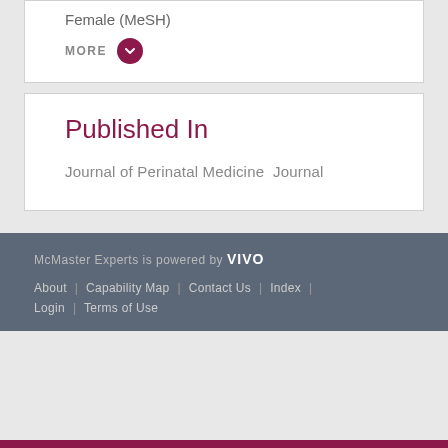Female (MeSH)
MORE
Published In
Journal of Perinatal Medicine  Journal
McMaster Experts is powered by VIVO
About | Capability Map | Contact Us | Index |
Login | Terms of Use